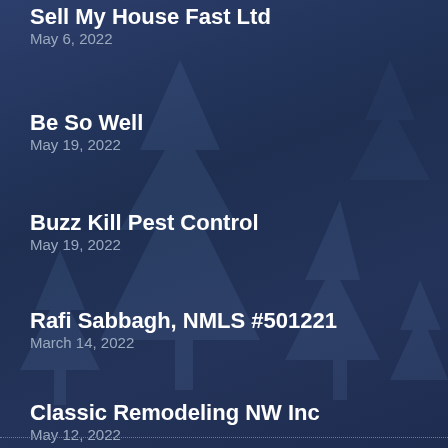Sell My House Fast Ltd
May 6, 2022
Be So Well
May 19, 2022
Buzz Kill Pest Control
May 19, 2022
Rafi Sabbagh, NMLS #501221
March 14, 2022
Classic Remodeling NW Inc
May 12, 2022